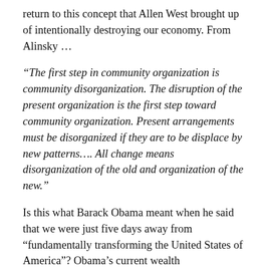return to this concept that Allen West brought up of intentionally destroying our economy. From Alinsky …
“The first step in community organization is community disorganization. The disruption of the present organization is the first step toward community organization. Present arrangements must be disorganized if they are to be displace by new patterns…. All change means disorganization of the old and organization of the new.”
Is this what Barack Obama meant when he said that we were just five days away from “fundamentally transforming the United States of America”? Obama’s current wealth